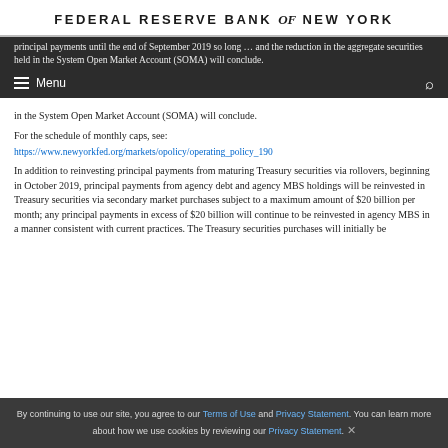FEDERAL RESERVE BANK of NEW YORK
principal payments until the end of September 2019 so long … and the reduction in the aggregate securities held in the System Open Market Account (SOMA) will conclude.
For the schedule of monthly caps, see:
https://www.newyorkfed.org/markets/opolicy/operating_policy_190
In addition to reinvesting principal payments from maturing Treasury securities via rollovers, beginning in October 2019, principal payments from agency debt and agency MBS holdings will be reinvested in Treasury securities via secondary market purchases subject to a maximum amount of $20 billion per month; any principal payments in excess of $20 billion will continue to be reinvested in agency MBS in a manner consistent with current practices. The Treasury securities purchases will initially be
By continuing to use our site, you agree to our Terms of Use and Privacy Statement. You can learn more about how we use cookies by reviewing our Privacy Statement.